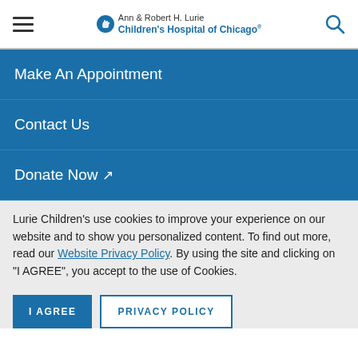Ann & Robert H. Lurie Children's Hospital of Chicago
Make An Appointment
Contact Us
Donate Now
Lurie Children's use cookies to improve your experience on our website and to show you personalized content. To find out more, read our Website Privacy Policy. By using the site and clicking on "I AGREE", you accept to the use of Cookies.
I AGREE | PRIVACY POLICY